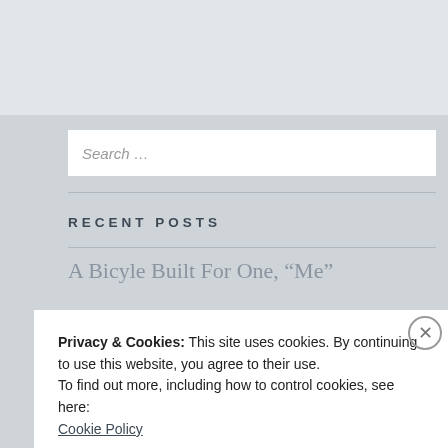[Figure (screenshot): Top banner area with light grey/blue background]
Search ...
RECENT POSTS
A Bicyle Built For One, “Me”
Privacy & Cookies: This site uses cookies. By continuing to use this website, you agree to their use.
To find out more, including how to control cookies, see here:
Cookie Policy
Close and accept